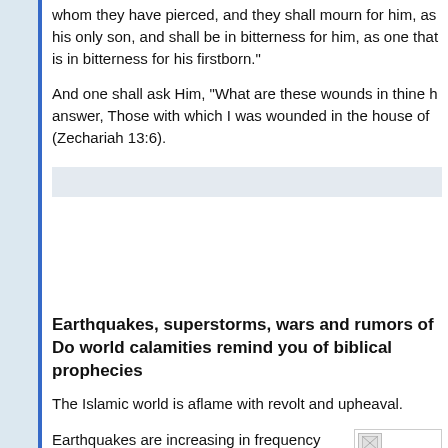whom they have pierced, and they shall mourn for him, as his only son, and shall be in bitterness for him, as one that is in bitterness for his firstborn."
And one shall ask Him, "What are these wounds in thine hands?" He shall answer, Those with which I was wounded in the house of my friends. (Zechariah 13:6).
Earthquakes, superstorms, wars and rumors of wars... Do world calamities remind you of biblical prophecies?
The Islamic world is aflame with revolt and upheaval.
Earthquakes are increasing in frequency and intensity.
Superstorms are ravaging the planet.
Does any of this have a familiar ring?
[Figure (photo): Small broken/loading image placeholder in upper right of lower section]